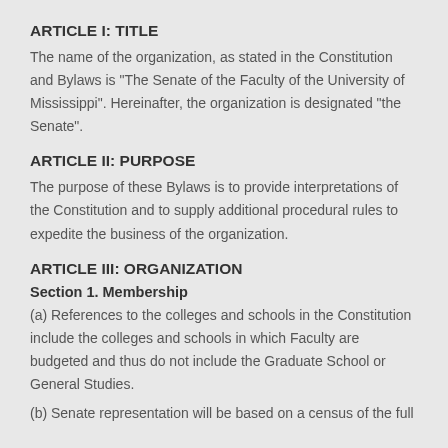ARTICLE I: TITLE
The name of the organization, as stated in the Constitution and Bylaws is "The Senate of the Faculty of the University of Mississippi". Hereinafter, the organization is designated "the Senate".
ARTICLE II: PURPOSE
The purpose of these Bylaws is to provide interpretations of the Constitution and to supply additional procedural rules to expedite the business of the organization.
ARTICLE III: ORGANIZATION
Section 1. Membership
(a) References to the colleges and schools in the Constitution include the colleges and schools in which Faculty are budgeted and thus do not include the Graduate School or General Studies.
(b) Senate representation will be based on a census of the full